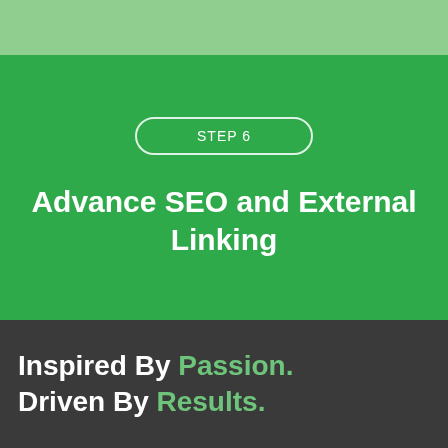STEP 6
Advance SEO and External Linking
Inspired By Passion. Driven By Results.